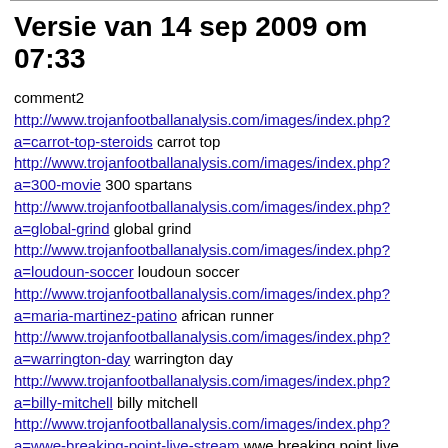Versie van 14 sep 2009 om 07:33
comment2
http://www.trojanfootballanalysis.com/images/index.php?a=carrot-top-steroids carrot top
http://www.trojanfootballanalysis.com/images/index.php?a=300-movie 300 spartans
http://www.trojanfootballanalysis.com/images/index.php?a=global-grind global grind
http://www.trojanfootballanalysis.com/images/index.php?a=loudoun-soccer loudoun soccer
http://www.trojanfootballanalysis.com/images/index.php?a=maria-martinez-patino african runner
http://www.trojanfootballanalysis.com/images/index.php?a=warrington-day warrington day
http://www.trojanfootballanalysis.com/images/index.php?a=billy-mitchell billy mitchell
http://www.trojanfootballanalysis.com/images/index.php?a=wwe-breaking-point-live-stream wwe breaking point live stream
http://www.trojanfootballanalysis.com/images/index.php?a=rentschler-field rentschler field
http://www.trojanfootballanalysis.com/images/index.php?a=wang-